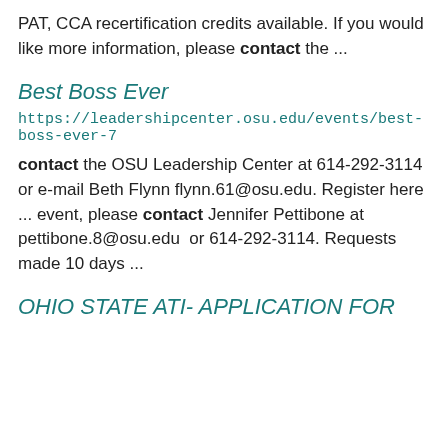PAT, CCA recertification credits available. If you would like more information, please contact the ...
Best Boss Ever
https://leadershipcenter.osu.edu/events/best-boss-ever-7
contact the OSU Leadership Center at 614-292-3114 or e-mail Beth Flynn flynn.61@osu.edu. Register here ... event, please contact Jennifer Pettibone at pettibone.8@osu.edu  or 614-292-3114. Requests made 10 days ...
OHIO STATE ATI- APPLICATION FOR